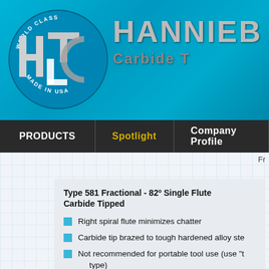[Figure (logo): HLT (Hannibal Carbide Tool) logo with 'World Class Made in USA' circular text, metallic H, L, T letters on teal/cyan background]
HANNIBAL Carbide T[ool]
PRODUCTS | Spotlight | Company Profile
Fr[actional]
Type 581 Fractional - 82º Single Flute Carbide Tipped
Right spiral flute minimizes chatter
Carbide tip brazed to tough hardened alloy ste[el]
Not recommended for portable tool use (use "t[he portable] type)